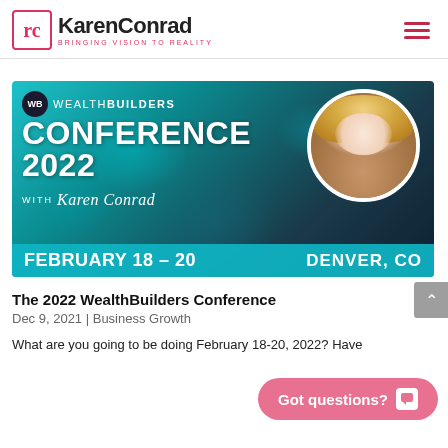KarenConrad — BRINGING VISION TO REALITY
[Figure (photo): WealthBuilders Conference 2022 with Karen Conrad promotional banner. Teal/dark background with conference title, dates February 18-20, Denver CO, and portrait of Karen Conrad.]
The 2022 WealthBuilders Conference
Dec 9, 2021 | Business Growth
What are you going to be doing February 18-20, 2022? Have